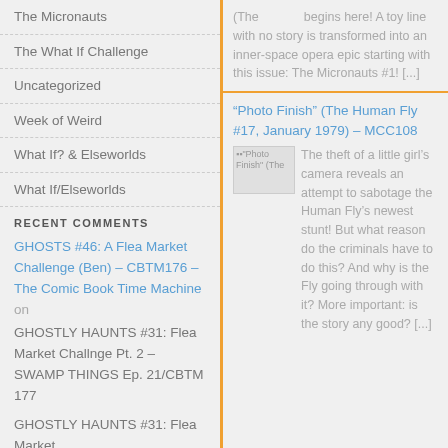The Micronauts
The What If Challenge
Uncategorized
Week of Weird
What If? & Elseworlds
What If/Elseworlds
RECENT COMMENTS
GHOSTS #46: A Flea Market Challenge (Ben) – CBTM176 – The Comic Book Time Machine on GHOSTLY HAUNTS #31: Flea Market Challnge Pt. 2 – SWAMP THINGS Ep. 21/CBTM 177
GHOSTLY HAUNTS #31: Flea Market
(The begins here! A toy line with no story is transformed into an inner-space opera epic starting with this issue: The Micronauts #1! [...]
“Photo Finish” (The Human Fly #17, January 1979) – MCC108
The theft of a little girl’s camera reveals an attempt to sabotage the Human Fly’s newest stunt! But what reason do the criminals have to do this? And why is the Fly going through with it? More important: is the story any good? [...]